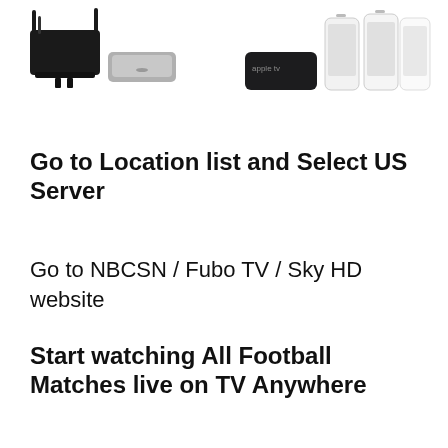[Figure (photo): Product photo showing a black WiFi router with antennas, a silver Mac Mini or similar device on the left side, and on the right side an Apple TV box with black casing along with two iPhones/smartphones displayed upright, all on white background.]
Go to Location list and Select US Server
Go to NBCSN / Fubo TV / Sky HD website
Start watching All Football Matches live on TV Anywhere